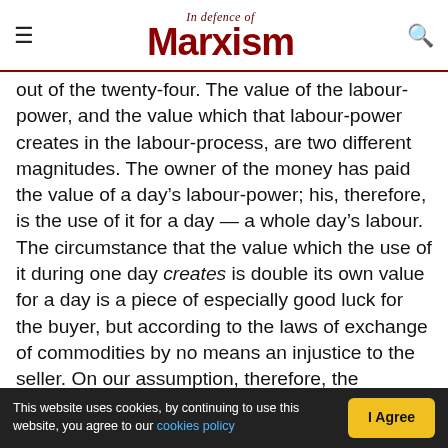In Defence of Marxism
out of the twenty-four. The value of the labour-power, and the value which that labour-power creates in the labour-process, are two different magnitudes. The owner of the money has paid the value of a day's labour-power; his, therefore, is the use of it for a day — a whole day's labour. The circumstance that the value which the use of it during one day creates is double its own value for a day is a piece of especially good luck for the buyer, but according to the laws of exchange of commodities by no means an injustice to the seller. On our assumption, therefore, the labourer each
This website uses cookies, by continuing to use this website, you agree to our cookies policy    I Agree